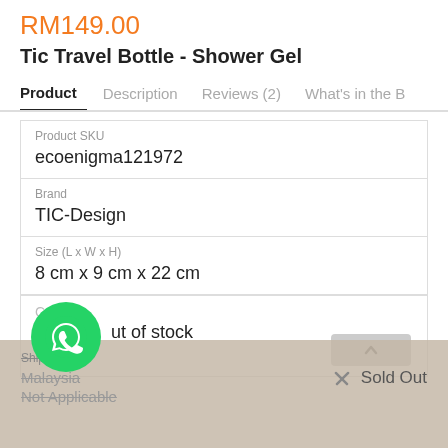RM149.00
Tic Travel Bottle - Shower Gel
Product | Description | Reviews (2) | What's in the B
| Product SKU | ecoenigma121972 |
| Brand | TIC-Design |
| Size (L x W x H) | 8 cm x 9 cm x 22 cm |
Out of stock
| Shipping Fee |  |
| Malaysia | Sold Out |
| Not Applicable |  |